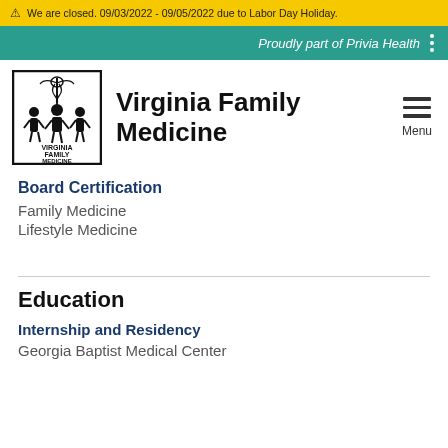⚠ We are closed. 09/03/2022 - 09/05/2022 due to Labor Day Holiday.
Proudly part of Privia Health
[Figure (logo): Virginia Family Medicine logo with figure silhouettes and caduceus]
Virginia Family Medicine
Board Certification
Family Medicine
Lifestyle Medicine
Education
Internship and Residency
Georgia Baptist Medical Center